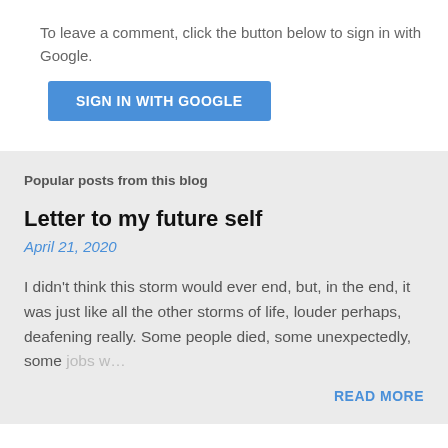To leave a comment, click the button below to sign in with Google.
[Figure (other): Blue 'SIGN IN WITH GOOGLE' button]
Popular posts from this blog
Letter to my future self
April 21, 2020
I didn't think this storm would ever end, but, in the end, it was just like all the other storms of life, louder perhaps, deafening really. Some people died, some unexpectedly, some jobs w…
READ MORE